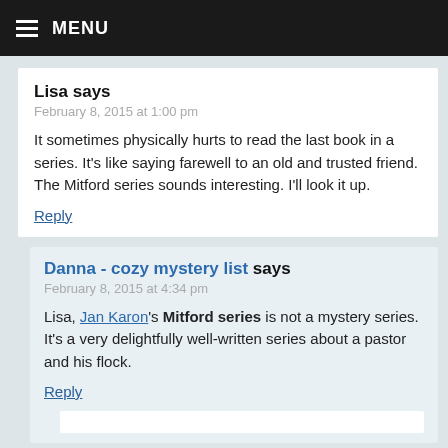MENU
Lisa says
February 8, 2015 at 1:00 pm
It sometimes physically hurts to read the last book in a series. It's like saying farewell to an old and trusted friend. The Mitford series sounds interesting. I'll look it up.
Reply
Danna - cozy mystery list says
February 8, 2015 at 4:34 pm
Lisa, Jan Karon's Mitford series is not a mystery series. It's a very delightfully well-written series about a pastor and his flock.
Reply